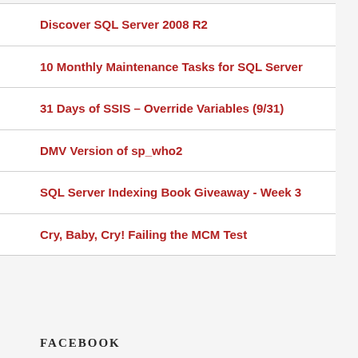Discover SQL Server 2008 R2
10 Monthly Maintenance Tasks for SQL Server
31 Days of SSIS – Override Variables (9/31)
DMV Version of sp_who2
SQL Server Indexing Book Giveaway - Week 3
Cry, Baby, Cry! Failing the MCM Test
FACEBOOK